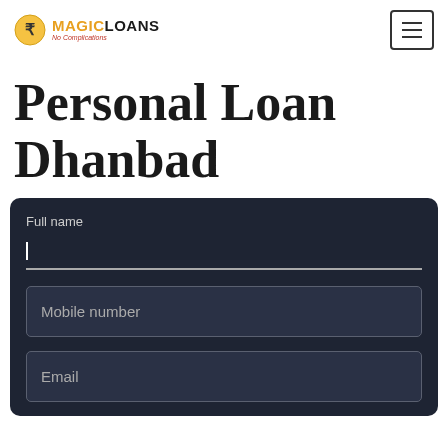MAGICLOANS
Personal Loan Dhanbad
Full name
Mobile number
Email